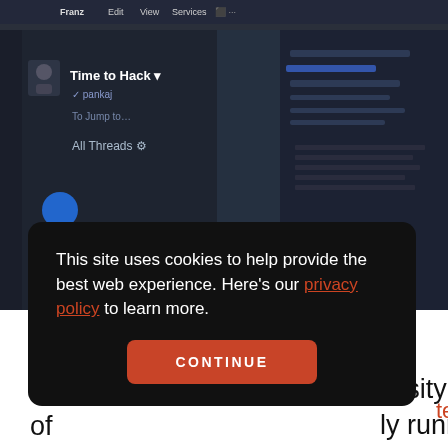[Figure (screenshot): Screenshot of Franz email/messaging app showing a dark-themed interface with 'Time to Hack' message, pankaj sender, Jump to, All Threads options, and a right sidebar with list items.]
This site uses cookies to help provide the best web experience. Here's our privacy policy to learn more.
CONTINUE
tel
ly running our
ns over email
and Slack. In 2009, researchers from
New York University, the University of